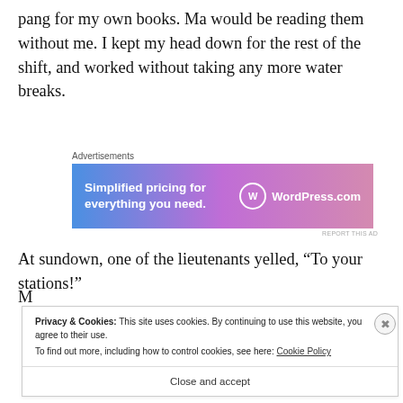pang for my own books. Ma would be reading them without me. I kept my head down for the rest of the shift, and worked without taking any more water breaks.
[Figure (other): WordPress.com advertisement banner with gradient background (blue to pink/purple). Text reads 'Simplified pricing for everything you need.' with WordPress.com logo.]
At sundown, one of the lieutenants yelled, “To your stations!”
Privacy & Cookies: This site uses cookies. By continuing to use this website, you agree to their use.
To find out more, including how to control cookies, see here: Cookie Policy
Close and accept